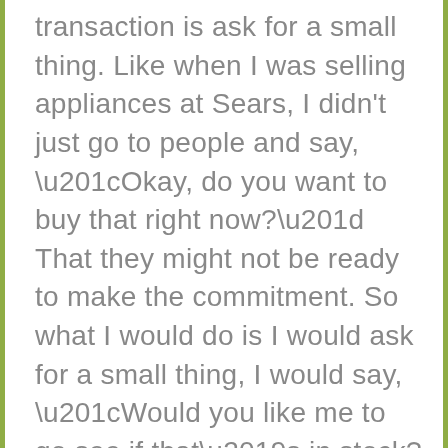transaction is ask for a small thing. Like when I was selling appliances at Sears, I didn't just go to people and say, “Okay, do you want to buy that right now?” That they might not be ready to make the commitment. So what I would do is I would ask for a small thing, I would say, “Would you like me to go see if that’s in stock?” Because I’m not saying, “Do you want to buy it?” I’m just saying, “Hey, would you like me to go see?” That’s when I transitioned from the transfer enthusiasm, the transfer confidence into the ask. The second thing, the second way to mature, kind of like the making of the...